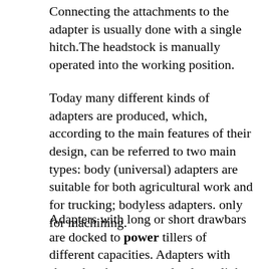Connecting the attachments to the adapter is usually done with a single hitch.The headstock is manually operated into the working position.
Today many different kinds of adapters are produced, which, according to the main features of their design, can be referred to two main types: body (universal) adapters are suitable for both agricultural work and for trucking; bodyless adapters. only for machining.
Adapters with long or short drawbars are docked to power tillers of different capacities. Adapters with short drawbars are used only on light power tillers, and adapters with long drawbars are used on heavy. As a rule, adapters' models are equipped with track width